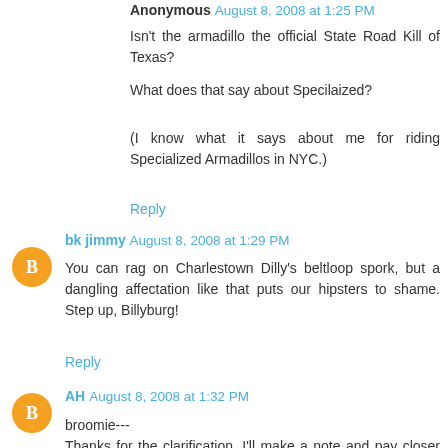Anonymous August 8, 2008 at 1:25 PM
Isn't the armadillo the official State Road Kill of Texas?
What does that say about Specilaized?
(I know what it says about me for riding Specialized Armadillos in NYC.)
Reply
bk jimmy August 8, 2008 at 1:29 PM
You can rag on Charlestown Dilly's beltloop spork, but a dangling affectation like that puts our hipsters to shame. Step up, Billyburg!
Reply
AH August 8, 2008 at 1:32 PM
broomie---
Thanks for the clarification. I'll make a note and pay closer attention next time.